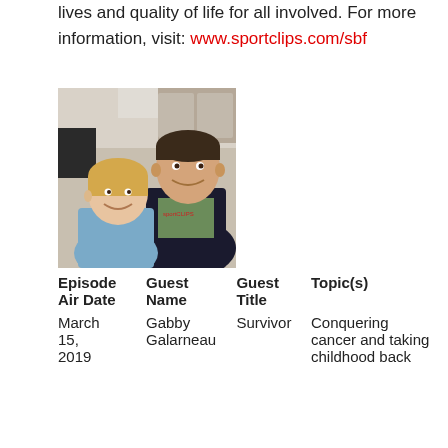lives and quality of life for all involved. For more information, visit: www.sportclips.com/sbf
[Figure (photo): Photo of a young girl and a man smiling together indoors, both facing the camera. The man is wearing a Sport Clips jacket.]
| Episode Air Date | Guest Name | Guest Title | Topic(s) |
| --- | --- | --- | --- |
| March 15, 2019 | Gabby Galarneau | Survivor | Conquering cancer and taking childhood back |